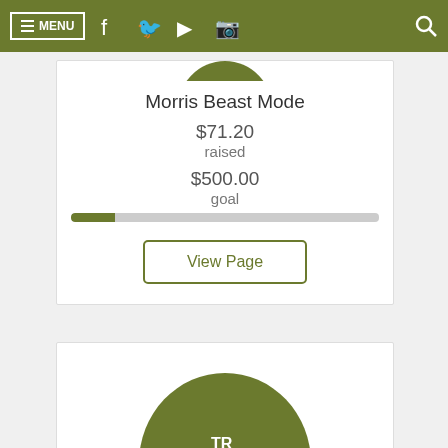MENU (navigation bar with social icons)
Morris Beast Mode
$71.20 raised
$500.00 goal
[Figure (infographic): Progress bar showing fundraising progress: $71.20 raised out of $500.00 goal, approximately 14% filled in olive green with remainder in grey]
View Page
[Figure (illustration): Circular olive green avatar placeholder with initials 'TR' partially visible at bottom of page]